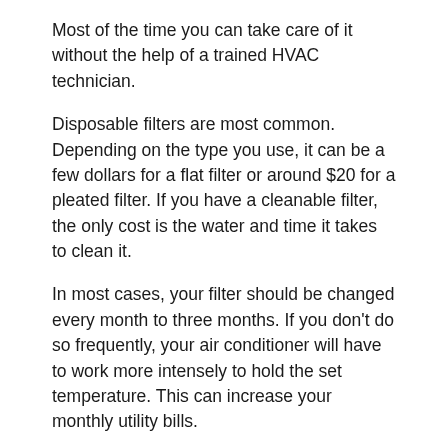Most of the time you can take care of it without the help of a trained HVAC technician.
Disposable filters are most common. Depending on the type you use, it can be a few dollars for a flat filter or around $20 for a pleated filter. If you have a cleanable filter, the only cost is the water and time it takes to clean it.
In most cases, your filter should be changed every month to three months. If you don’t do so frequently, your air conditioner will have to work more intensely to hold the set temperature. This can increase your monthly utility bills.
2. Thermostat
Your thermostat is how you control your air